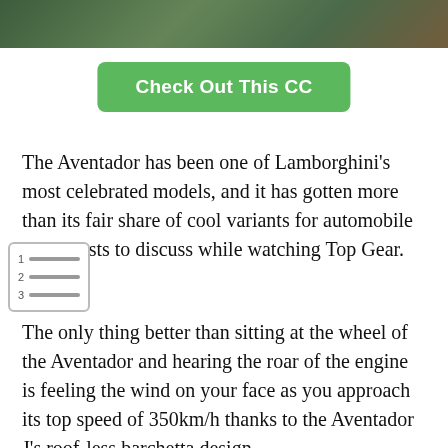[Figure (photo): Dark green/brown blurred photo strip at the top of the page]
Check Out This CC
The Aventador has been one of Lamborghini's most celebrated models, and it has gotten more than its fair share of cool variants for automobile enthusiasts to discuss while watching Top Gear.
[Figure (other): Table of contents icon showing numbered rows 1, 2, 3 with horizontal lines]
The only thing better than sitting at the wheel of the Aventador and hearing the roar of the engine is feeling the wind on your face as you approach its top speed of 350km/h thanks to the Aventador J's roof-less barchetta design.
Just watch out, as even a fly could cause severe damage to your skin at that speed.